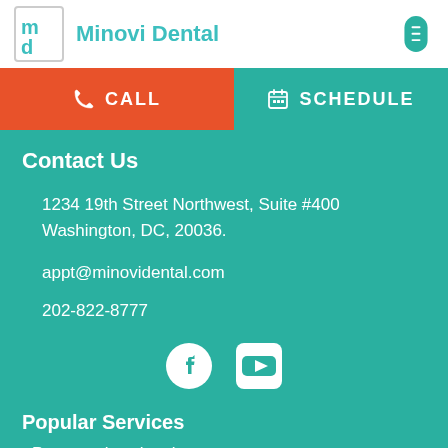[Figure (logo): Minovi Dental logo with stylized 'm' and 'd' letters in teal, and text 'Minovi Dental' in teal]
CALL
SCHEDULE
Contact Us
1234 19th Street Northwest, Suite #400
Washington, DC, 20036.
appt@minovidental.com
202-822-8777
[Figure (illustration): Facebook and YouTube social media icons in white on teal background]
Popular Services
Preventative cleanings